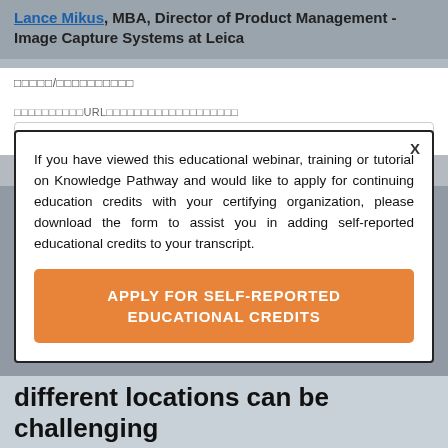Lance Mikus, MBA, Director of Product Management - Image Capture Systems at Leica
□□□□□/□□□□□□□□□□
□□□□□□□□□□URL□□□□□□□□□□□□□□□□□□□
□□□□
English
If you have viewed this educational webinar, training or tutorial on Knowledge Pathway and would like to apply for continuing education credits with your certifying organization, please download the form to assist you in adding self-reported educational credits to your transcript.
APPLY FOR SELF-REPORTED EDUCATIONAL CREDITS
different locations can be challenging